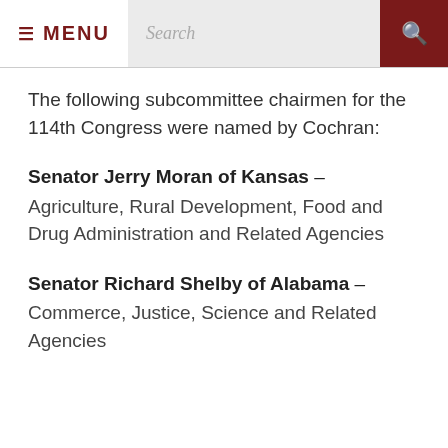≡ MENU  Search
The following subcommittee chairmen for the 114th Congress were named by Cochran:
Senator Jerry Moran of Kansas – Agriculture, Rural Development, Food and Drug Administration and Related Agencies
Senator Richard Shelby of Alabama – Commerce, Justice, Science and Related Agencies